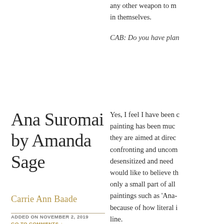any other weapon to m... in themselves.
CAB: Do you have plan...
Yes, I feel I have been c... painting has been muc... they are aimed at direc... confronting and uncom... desensitized and need ... would like to believe th... only a small part of all ... paintings such as 'Ana-... because of how literal i... line.
Ana Suromai by Amanda Sage
Carrie Ann Baade
ADDED ON NOVEMBER 2, 2019
GO TO COMMENTS ↓
CAB: How do you see a...